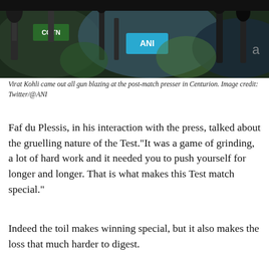[Figure (photo): Press conference scene with multiple microphones including CGTN and ANI branded mics, with people in background. Social media share icons visible at top right.]
Virat Kohli came out all gun blazing at the post-match presser in Centurion. Image credit: Twitter/@ANI
Faf du Plessis, in his interaction with the press, talked about the gruelling nature of the Test."It was a game of grinding, a lot of hard work and it needed you to push yourself for longer and longer. That is what makes this Test match special."
Indeed the toil makes winning special, but it also makes the loss that much harder to digest.